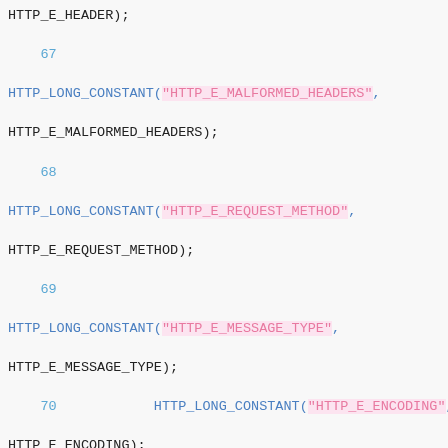Code snippet showing HTTP_LONG_CONSTANT macro calls with line numbers 67-77, using HTTP error constants such as HTTP_E_MALFORMED_HEADERS, HTTP_E_REQUEST_METHOD, HTTP_E_MESSAGE_TYPE, HTTP_E_ENCODING, HTTP_E_REQUEST, HTTP_E_REQUEST_POOL, HTTP_E_SOCKET, HTTP_E_RESPONSE, HTTP_E_URL